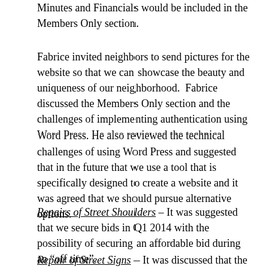Minutes and Financials would be included in the Members Only section.
Fabrice invited neighbors to send pictures for the website so that we can showcase the beauty and uniqueness of our neighborhood.  Fabrice discussed the Members Only section and the challenges of implementing authentication using Word Press. He also reviewed the technical challenges of using Word Press and suggested that in the future that we use a tool that is specifically designed to create a website and it was agreed that we should pursue alternative options.
Repairs of Street Shoulders – It was suggested that we secure bids in Q1 2014 with the possibility of securing an affordable bid during an “off time”.
Repair of Street Signs – It was discussed that the stop